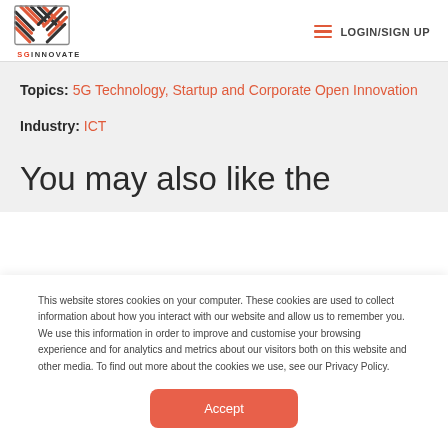SGInnovate — LOGIN/SIGN UP
Topics: 5G Technology, Startup and Corporate Open Innovation
Industry: ICT
You may also like the
This website stores cookies on your computer. These cookies are used to collect information about how you interact with our website and allow us to remember you. We use this information in order to improve and customise your browsing experience and for analytics and metrics about our visitors both on this website and other media. To find out more about the cookies we use, see our Privacy Policy.
Accept